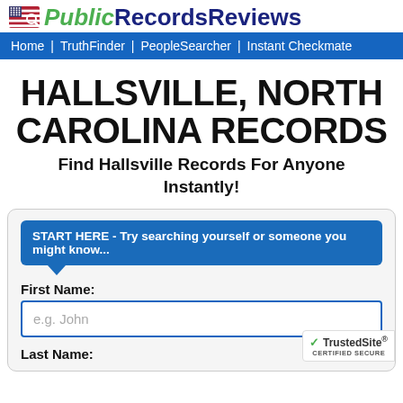[Figure (logo): PublicRecordsReviews logo with US flag icon, 'Public' in green italic and 'RecordsReviews' in dark blue bold]
Home | TruthFinder | PeopleSearcher | Instant Checkmate
HALLSVILLE, NORTH CAROLINA RECORDS
Find Hallsville Records For Anyone Instantly!
START HERE - Try searching yourself or someone you might know...
First Name:
e.g. John
Last Name: